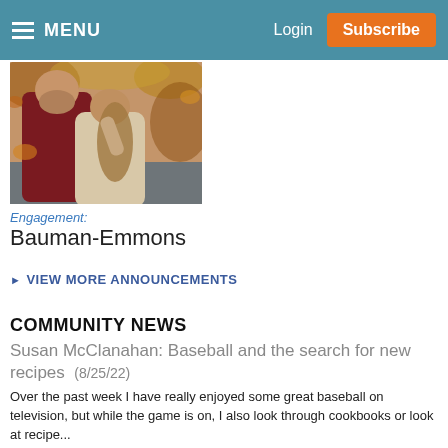MENU | Login | Subscribe
[Figure (photo): Couple kissing outdoors, engagement photo]
Engagement:
Bauman-Emmons
▶ VIEW MORE ANNOUNCEMENTS
COMMUNITY NEWS
Susan McClanahan: Baseball and the search for new recipes (8/25/22) Over the past week I have really enjoyed some great baseball on television, but while the game is on, I also look through cookbooks or look at recipe...